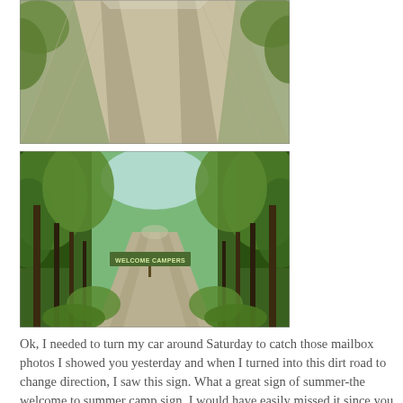[Figure (photo): Close-up photo of a dirt road with tire tracks, green foliage on sides, taken from a low angle looking forward.]
[Figure (photo): Photo of a tree-lined dirt road in summer with a 'WELCOME CAMPERS' sign visible in the distance between the trees.]
Ok, I needed to turn my car around Saturday to catch those mailbox photos I showed you yesterday and when I turned into this dirt road to change direction, I saw this sign. What a great sign of summer-the welcome to summer camp sign. I would have easily missed it since you can see from the